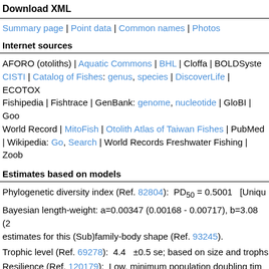Download XML
Summary page | Point data | Common names | Photos
Internet sources
AFORO (otoliths) | Aquatic Commons | BHL | Cloffa | BOLDSystems | CISTI | Catalog of Fishes: genus, species | DiscoverLife | ECOTOX | Fishipedia | Fishtrace | GenBank: genome, nucleotide | GloBI | Google World Record | MitoFish | Otolith Atlas of Taiwan Fishes | PubMed | Wikipedia: Go, Search | World Records Freshwater Fishing | Zoob
Estimates based on models
Phylogenetic diversity index (Ref. 82804):  PD50 = 0.5001   [Unique
Bayesian length-weight: a=0.00347 (0.00168 - 0.00717), b=3.08 (2... estimates for this (Sub)family-body shape (Ref. 93245).
Trophic level (Ref. 69278):  4.4  ±0.5 se; based on size and trophs
Resilience (Ref. 120179):  Low, minimum population doubling time
Fishing Vulnerability (Ref. 59153):  Moderate vulnerability (42 of 1
Comments & Corrections